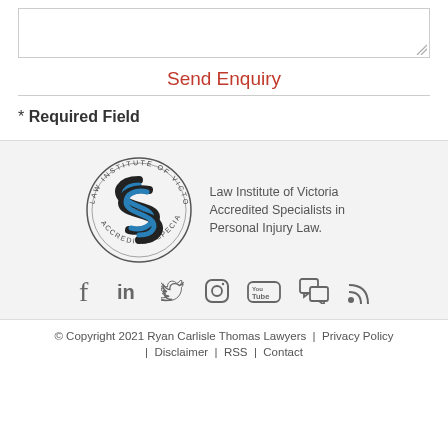Send Enquiry
* Required Field
[Figure (logo): Law Institute of Victoria Accredited Specialist circular seal logo with blue and black stylized S emblem]
Law Institute of Victoria Accredited Specialists in Personal Injury Law.
[Figure (infographic): Social media icons row: Facebook, LinkedIn, Twitter, Instagram, YouTube, chat/comments, RSS feed]
© Copyright 2021 Ryan Carlisle Thomas Lawyers   |   Privacy Policy   |   Disclaimer   |   RSS   |   Contact